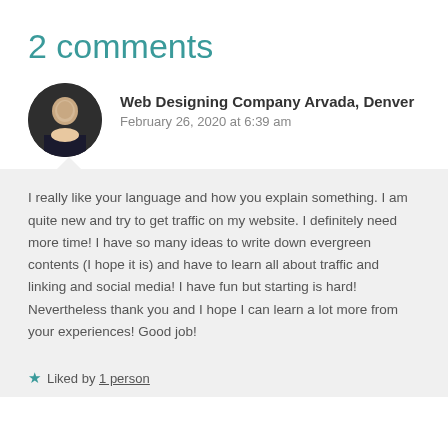2 comments
Web Designing Company Arvada, Denver
February 26, 2020 at 6:39 am
I really like your language and how you explain something. I am quite new and try to get traffic on my website. I definitely need more time! I have so many ideas to write down evergreen contents (I hope it is) and have to learn all about traffic and linking and social media! I have fun but starting is hard! Nevertheless thank you and I hope I can learn a lot more from your experiences! Good job!
★ Liked by 1 person